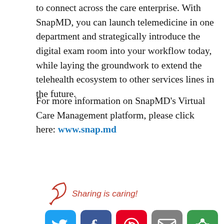to connect across the care enterprise. With SnapMD, you can launch telemedicine in one department and strategically introduce the digital exam room into your workflow today, while laying the groundwork to extend the telehealth ecosystem to other services lines in the future.
For more information on SnapMD's Virtual Care Management platform, please click here: www.snap.md
[Figure (infographic): Sharing is caring! social share buttons: Twitter (blue), Facebook (dark blue), Pinterest (red), Email (gray), More (green)]
« CancerLinQ LLC Collaborating With the American College of Medical Genetics and Genomics